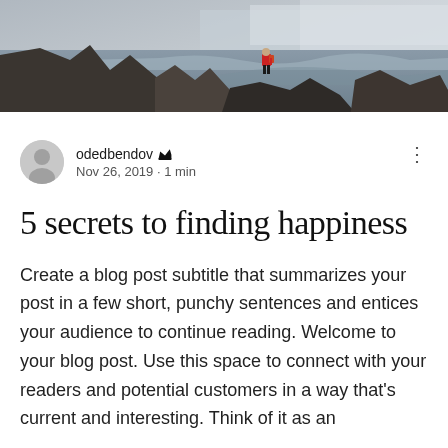[Figure (photo): A person in a red jacket standing on rocky coastal cliffs with stormy ocean waves and misty sky in the background.]
odedbendov 👑
Nov 26, 2019 · 1 min
5 secrets to finding happiness
Create a blog post subtitle that summarizes your post in a few short, punchy sentences and entices your audience to continue reading. Welcome to your blog post. Use this space to connect with your readers and potential customers in a way that's current and interesting. Think of it as an